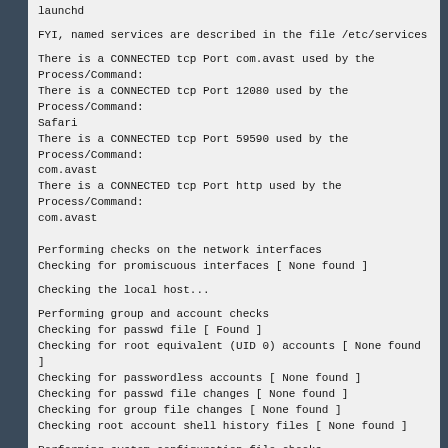launchd
FYI, named services are described in the file /etc/services
There is a CONNECTED tcp Port com.avast used by the Process/Command:
There is a CONNECTED tcp Port 12080 used by the Process/Command: Safari
There is a CONNECTED tcp Port 59590 used by the Process/Command: com.avast
There is a CONNECTED tcp Port http used by the Process/Command: com.avast
Performing checks on the network interfaces
Checking for promiscuous interfaces [ None found ]
Checking the local host...
Performing group and account checks
Checking for passwd file [ Found ]
Checking for root equivalent (UID 0) accounts [ None found ]
Checking for passwordless accounts [ None found ]
Checking for passwd file changes [ None found ]
Checking for group file changes [ None found ]
Checking root account shell history files [ None found ]
Performing system configuration file checks
Checking for SSH configuration file [ Found ]
Checking if SSH root access is allowed [ OK ]
Checking if SSH protocol v1 is allowed [ Not allowed ]
Checking for running syslog daemon [ Found ]
Checking for syslog configuration file [ Found ]
Checking if syslog remote logging is allowed [ Warning ]
Syslog configuration file allows remote logging: install.* @127.0.0.1:32376
Performing filesystem checks
Checking /dev for suspicious file types [ None found ]
Checking for hidden files and directories [ Warning ]